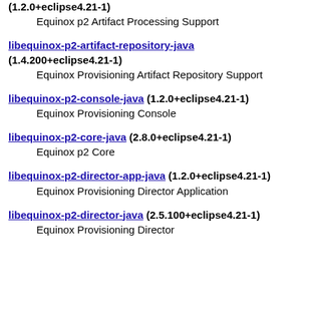(1.2.0+eclipse4.21-1)
    Equinox p2 Artifact Processing Support
libequinox-p2-artifact-repository-java (1.4.200+eclipse4.21-1)
    Equinox Provisioning Artifact Repository Support
libequinox-p2-console-java (1.2.0+eclipse4.21-1)
    Equinox Provisioning Console
libequinox-p2-core-java (2.8.0+eclipse4.21-1)
    Equinox p2 Core
libequinox-p2-director-app-java (1.2.0+eclipse4.21-1)
    Equinox Provisioning Director Application
libequinox-p2-director-java (2.5.100+eclipse4.21-1)
    Equinox Provisioning Director